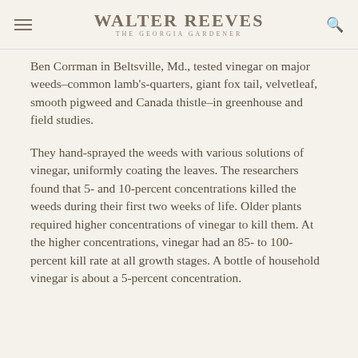Walter Reeves The Georgia Gardener
Ben Corrman in Beltsville, Md., tested vinegar on major weeds–common lamb's-quarters, giant fox tail, velvetleaf, smooth pigweed and Canada thistle–in greenhouse and field studies.
They hand-sprayed the weeds with various solutions of vinegar, uniformly coating the leaves. The researchers found that 5- and 10-percent concentrations killed the weeds during their first two weeks of life. Older plants required higher concentrations of vinegar to kill them. At the higher concentrations, vinegar had an 85- to 100-percent kill rate at all growth stages. A bottle of household vinegar is about a 5-percent concentration.